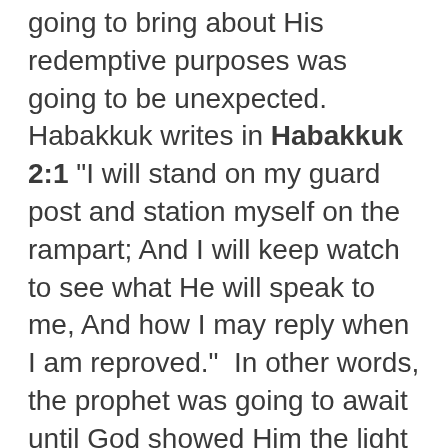going to bring about His redemptive purposes was going to be unexpected. Habakkuk writes in Habakkuk 2:1 "I will stand on my guard post and station myself on the rampart; And I will keep watch to see what He will speak to me, And how I may reply when I am reproved."  In other words, the prophet was going to await until God showed Him the light of His purposes - which of course He would.  God's Gospel lamp was shining in Habakkuk's day, and Paul's usage of Habakkuk's prophecy in Acts 13:41 indicates that the Gospel